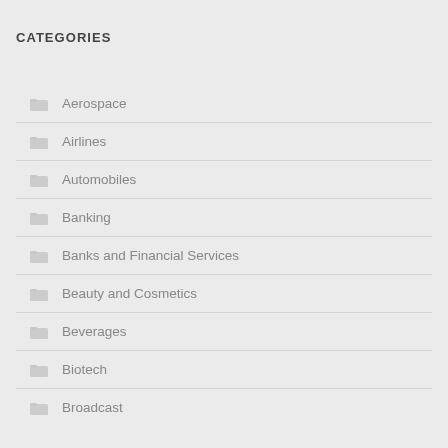CATEGORIES
Aerospace
Airlines
Automobiles
Banking
Banks and Financial Services
Beauty and Cosmetics
Beverages
Biotech
Broadcast